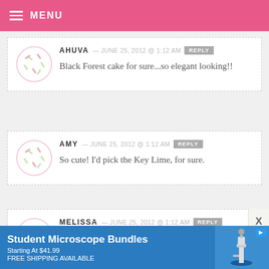MENU
AHUVA — JUNE 25, 2012 @ 1:12 AM  REPLY
Black Forest cake for sure...so elegant looking!!
AMY — JUNE 25, 2012 @ 1:12 AM  REPLY
So cute! I'd pick the Key Lime, for sure.
MELISSA — JUNE 25, 2012 @ 1:12 AM  REPLY
[Figure (infographic): Advertisement banner: Student Microscope Bundles, Starting At $41.99, FREE SHIPPING AVAILABLE, with microscope image on right and play button icon]